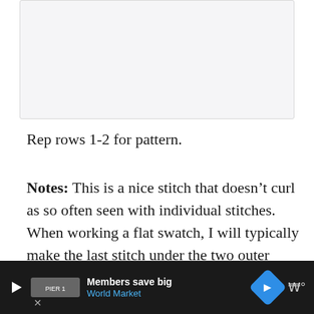[Figure (photo): Light gray image placeholder box at the top of the page]
Rep rows 1-2 for pattern.
Notes: This is a nice stitch that doesn't curl as so often seen with individual stitches. When working a flat swatch, I will typically make the last stitch under the two outer vertical bars for stability. It isn't a requirement and I don't use it for all applications of t... y s...
[Figure (other): Advertisement bar at bottom: 'Members save big / World Market' with World Market logo and navigation icon]